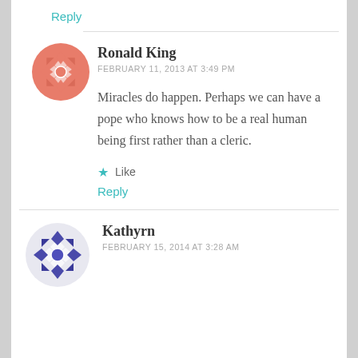Reply
Ronald King
FEBRUARY 11, 2013 AT 3:49 PM
Miracles do happen. Perhaps we can have a pope who knows how to be a real human being first rather than a cleric.
Like
Reply
Kathyrn
FEBRUARY 15, 2014 AT 3:28 AM